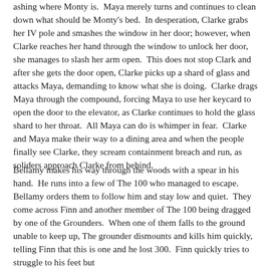ashing where Monty is.  Maya merely turns and continues to clean down what should be Monty's bed.  In desperation, Clarke grabs her IV pole and smashes the window in her door; however, when Clarke reaches her hand through the window to unlock her door, she manages to slash her arm open.  This does not stop Clark and after she gets the door open, Clarke picks up a shard of glass and attacks Maya, demanding to know what she is doing.  Clarke drags Maya through the compound, forcing Maya to use her keycard to open the door to the elevator, as Clarke continues to hold the glass shard to her throat.  All Maya can do is whimper in fear.  Clarke and Maya make their way to a dining area and when the people finally see Clarke, they scream containment breach and run, as soliders approach Clarke from behind.
Bellamy makes his way through the woods with a spear in his hand.  He runs into a few of The 100 who managed to escape.  Bellamy orders them to follow him and stay low and quiet.  They come across Finn and another member of The 100 being dragged by one of the Grounders.  When one of them falls to the ground unable to keep up, The grounder dismounts and kills him quickly, telling Finn that this is one and he lost 300.  Finn quickly tries to struggle to his feet but